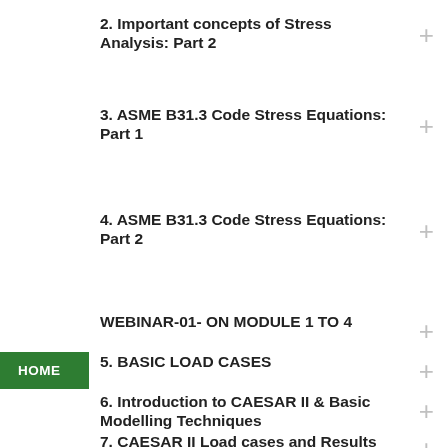2. Important concepts of Stress Analysis: Part 2
3. ASME B31.3 Code Stress Equations: Part 1
4. ASME B31.3 Code Stress Equations: Part 2
WEBINAR-01- ON MODULE 1 TO 4
5. BASIC LOAD CASES
6. Introduction to CAESAR II & Basic Modelling Techniques
7. CAESAR II Load cases and Results